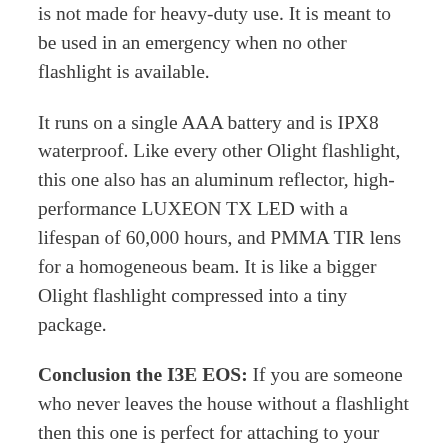is not made for heavy-duty use. It is meant to be used in an emergency when no other flashlight is available.
It runs on a single AAA battery and is IPX8 waterproof. Like every other Olight flashlight, this one also has an aluminum reflector, high-performance LUXEON TX LED with a lifespan of 60,000 hours, and PMMA TIR lens for a homogeneous beam. It is like a bigger Olight flashlight compressed into a tiny package.
Conclusion the I3E EOS: If you are someone who never leaves the house without a flashlight then this one is perfect for attaching to your belt or keychain. It is totally inconspicuous but still bright enough to come in handy when there is no other like available. At just $40 this is a